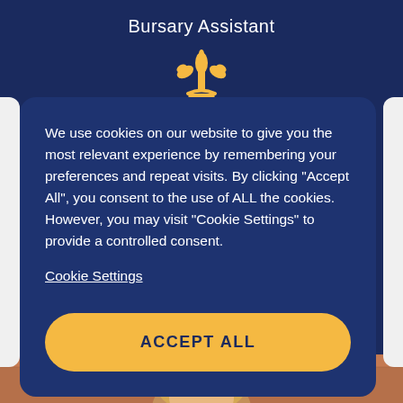Bursary Assistant
[Figure (illustration): Gold fleur-de-lis heraldic symbol centered on dark navy background]
We use cookies on our website to give you the most relevant experience by remembering your preferences and repeat visits. By clicking “Accept All”, you consent to the use of ALL the cookies. However, you may visit "Cookie Settings" to provide a controlled consent.
Cookie Settings
ACCEPT ALL
[Figure (photo): Bottom portion of page showing a partial photo of a person's face against a brick wall background]